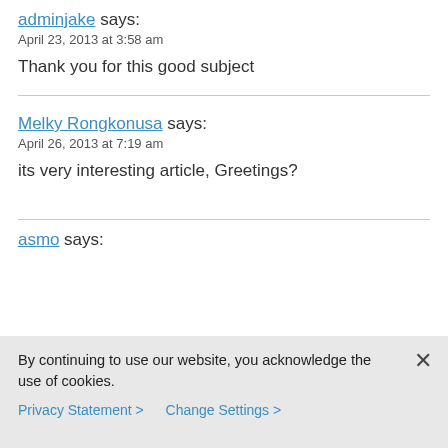adminjake says:
April 23, 2013 at 3:58 am
Thank you for this good subject
Melky Rongkonusa says:
April 26, 2013 at 7:19 am
its very interesting article, Greetings?
asmo says:
By continuing to use our website, you acknowledge the use of cookies.
Privacy Statement > Change Settings >